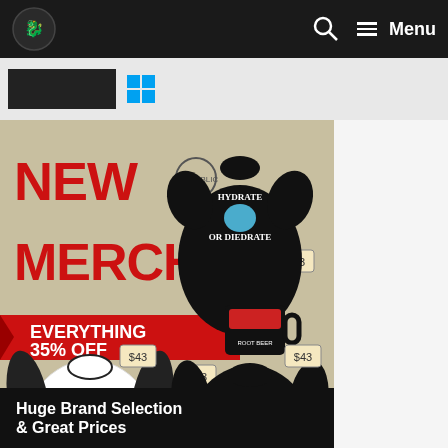Menu
[Figure (illustration): Merch banner advertisement showing NEW MERCH - EVERYTHING 35% OFF with various items: a black t-shirt with 'Hydrate or Diedrate' dinosaur design, a mug with coffee design, a white raglan shirt with dragon design, and a black sweatshirt with 'Ready to Shoot' dragon design. TeePublic logo visible.]
Huge Brand Selection & Great Prices